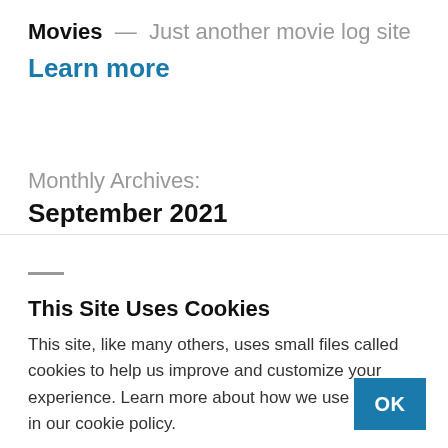Movies — Just another movie log site
Learn more
Monthly Archives:
September 2021
This Site Uses Cookies
This site, like many others, uses small files called cookies to help us improve and customize your experience. Learn more about how we use cookies in our cookie policy.
OK